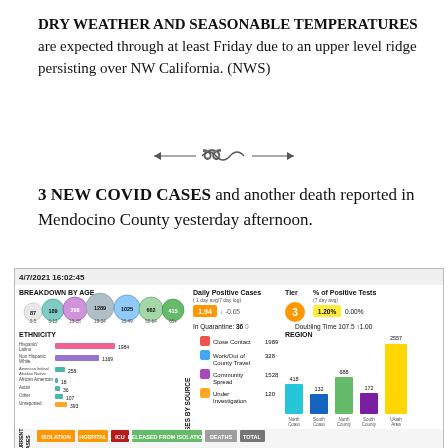DRY WEATHER AND SEASONABLE TEMPERATURES are expected through at least Friday due to an upper level ridge persisting over NW California. (NWS)
[Figure (illustration): Decorative divider with ornamental swirl design]
3 NEW COVID CASES and another death reported in Mendocino County yesterday afternoon.
[Figure (infographic): COVID-19 dashboard dated 4/7/2021 16:02:45 showing breakdown by age, ethnicity, cases by source, daily positive cases (1.94, -0.65), Tier 3, % of Positive Tests 1.20%, In Quarantine: 36, Doubling Time 107.5 +1.00, and region breakdown with bars for North Coast (418), South Coast (132), North County (688), South County (172), Ukiah Area (2557). Also shows isolation/hospital/ICU/released from isolation/deaths/total table at bottom.]